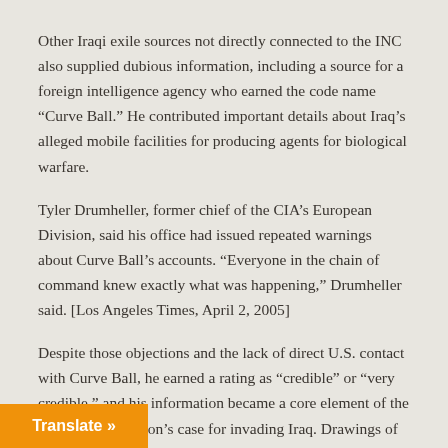Other Iraqi exile sources not directly connected to the INC also supplied dubious information, including a source for a foreign intelligence agency who earned the code name “Curve Ball.” He contributed important details about Iraq’s alleged mobile facilities for producing agents for biological warfare.
Tyler Drumheller, former chief of the CIA’s European Division, said his office had issued repeated warnings about Curve Ball’s accounts. “Everyone in the chain of command knew exactly what was happening,” Drumheller said. [Los Angeles Times, April 2, 2005]
Despite those objections and the lack of direct U.S. contact with Curve Ball, he earned a rating as “credible” or “very credible,” and his information became a core element of the Bush administration’s case for invading Iraq. Drawings of Curve Ball’s imaginary bio-weapons labs were a central feature of Secretary of State Powell’s presentation to the U.N.
…n, U.S. officials continued to promote these …e discovery of a couple of trailers used for inflating